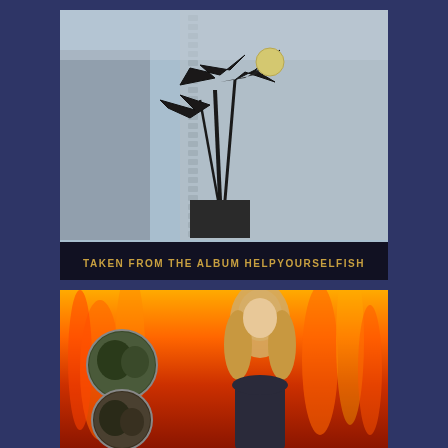[Figure (photo): Album cover image for D.A.D. 'HelpYourselfish' showing a metallic sculpture with fish-like forms against a grey building facade, with text at the bottom reading 'TAKEN FROM THE ALBUM HELPYOURSELFISH']
D.A.D. – reconstrucdead CDMX
6,00€
[Figure (photo): Album cover image showing a blonde woman in front of flames, with circular inset photos of football players on the left side]